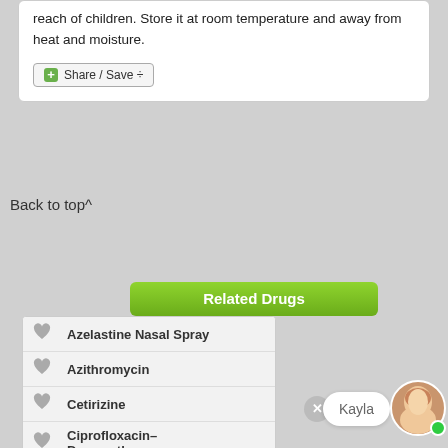reach of children. Store it at room temperature and away from heat and moisture.
[Figure (screenshot): Share / Save button with green plus icon]
Back to top^
Related Drugs
|  | Drug Name |
| --- | --- |
| ♡ | Azelastine Nasal Spray |
| ♡ | Azithromycin |
| ♡ | Cetirizine |
| ♡ | Ciprofloxacin–Dexamethasone |
| ♡ | Cyproheptadine |
[Figure (screenshot): Chat overlay with Kayla avatar, close button, and name bubble]